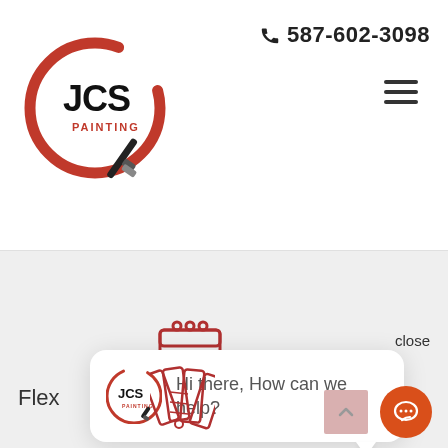[Figure (logo): JCS Painting logo — red brushstroke circle with a paint brush and JCS PAINTING text]
587-602-3098
[Figure (other): Hamburger/menu icon — three horizontal lines]
[Figure (other): Red calendar icon]
close
Flex
[Figure (other): JCS Painting logo small in chat bubble]
Hi there, How can we help?
[Figure (other): Red paint swatches/fan icon]
[Figure (other): Scroll to top button with up arrow]
[Figure (other): Orange chat button with speech bubble icon]